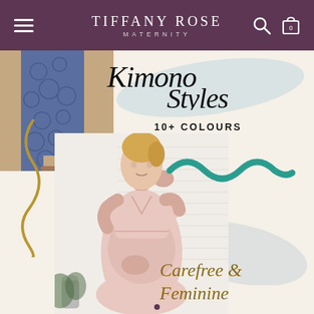TIFFANY ROSE MATERNITY
[Figure (screenshot): Website screenshot of Tiffany Rose Maternity showing kimono styles promotional banner with a pregnant woman in a pink dress and decorative brush strokes. Text reads 'Kimono Styles', '10+ COLOURS', 'Carefree & Feminine'.]